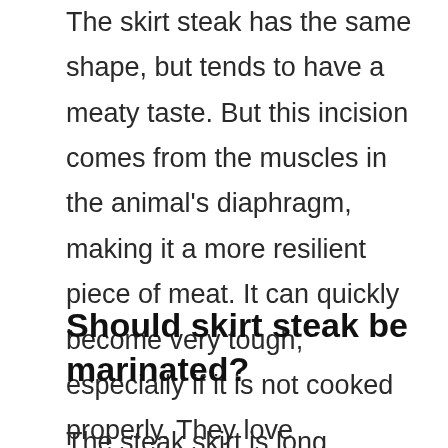The skirt steak has the same shape, but tends to have a meaty taste. But this incision comes from the muscles in the animal's diaphragm, making it a more resilient piece of meat. It can quickly become very tough, especially if it is not cooked properly. They love marinades and fast cooking at high temperatures.
Should skirt steak be marinated?
The steak skirt is long, narrow and only ½ to